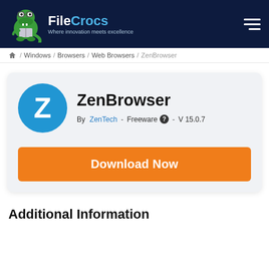FileCrocs — Where innovation meets excellence
/ Windows / Browsers / Web Browsers / ZenBrowser
ZenBrowser
By ZenTech  -  Freeware  -  V 15.0.7
Download Now
Additional Information